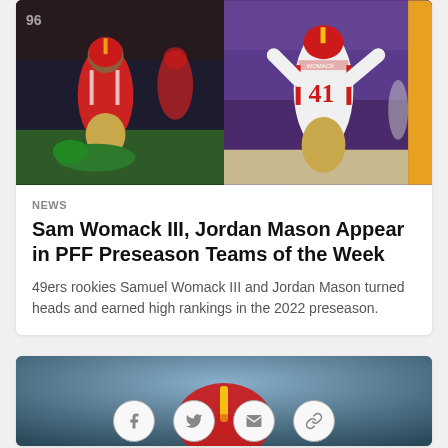[Figure (photo): Two photos side by side: left shows a San Francisco 49ers player in red uniform tackling an opponent on green turf; right shows 49ers player #41 in white away uniform with arms raised in a purple-lit stadium.]
NEWS
Sam Womack III, Jordan Mason Appear in PFF Preseason Teams of the Week
49ers rookies Samuel Womack III and Jordan Mason turned heads and earned high rankings in the 2022 preseason.
[Figure (photo): Close-up of a San Francisco 49ers helmet, blurred background.]
[Figure (other): Social sharing icons: Facebook, Twitter, Email, Link/copy]